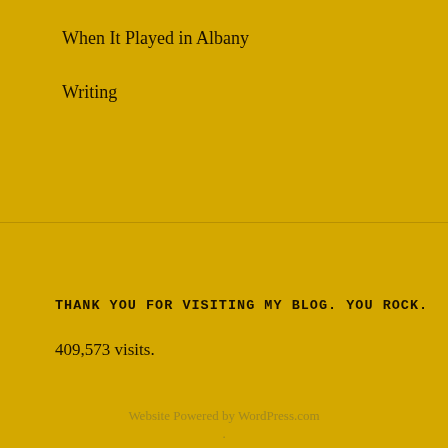When It Played in Albany
Writing
THANK YOU FOR VISITING MY BLOG. YOU ROCK.
409,573 visits.
Website Powered by WordPress.com